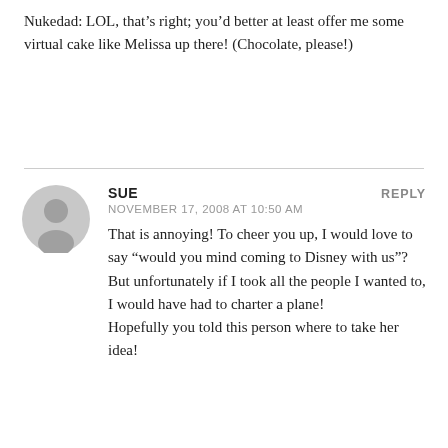Nukedad: LOL, that’s right; you’d better at least offer me some virtual cake like Melissa up there! (Chocolate, please!)
SUE
NOVEMBER 17, 2008 AT 10:50 AM
REPLY
That is annoying! To cheer you up, I would love to say “would you mind coming to Disney with us”? But unfortunately if I took all the people I wanted to, I would have had to charter a plane!
Hopefully you told this person where to take her idea!